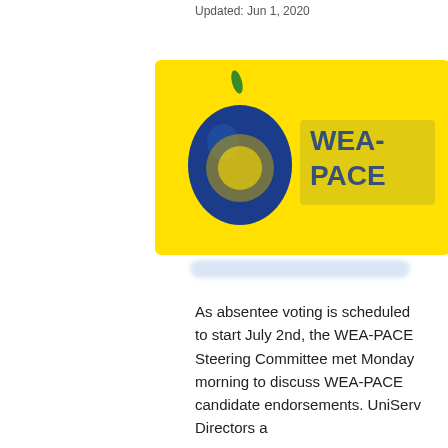Updated: Jun 1, 2020
[Figure (logo): WEA-PACE logo on yellow background: blue circular apple graphic on left, stylized text on right, yellow background]
[blurred caption/link text]
As absentee voting is scheduled to start July 2nd, the WEA-PACE Steering Committee met Monday morning to discuss WEA-PACE candidate endorsements. UniServ Directors a